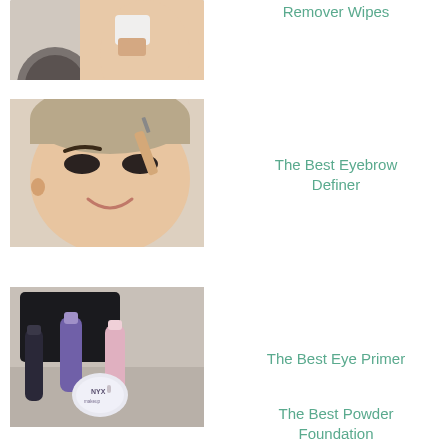[Figure (photo): Woman using makeup remover wipe near a mirror, partial view at top of page]
Remover Wipes
[Figure (photo): Smiling young woman applying eyebrow makeup with a brush]
The Best Eyebrow Definer
[Figure (photo): Eye primer products including NYX brand tubes and container on a surface]
The Best Eye Primer
The Best Powder Foundation